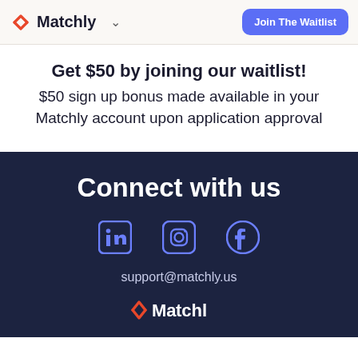Matchly — Join The Waitlist
Get $50 by joining our waitlist!
$50 sign up bonus made available in your Matchly account upon application approval
Connect with us
[Figure (infographic): Social media icons: LinkedIn, Instagram, Facebook]
support@matchly.us
[Figure (logo): Matchly logo (partial) in footer]